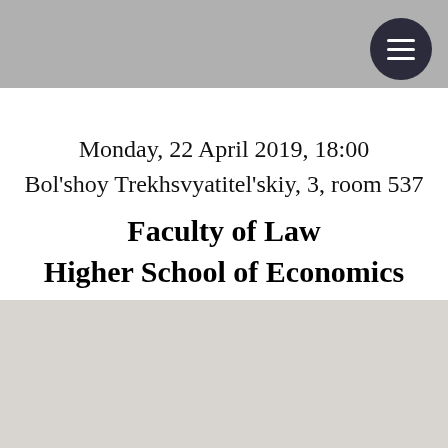Monday, 22 April 2019, 18:00
Bol'shoy Trekhsvyatitel'skiy, 3, room 537
Faculty of Law
Higher School of Economics